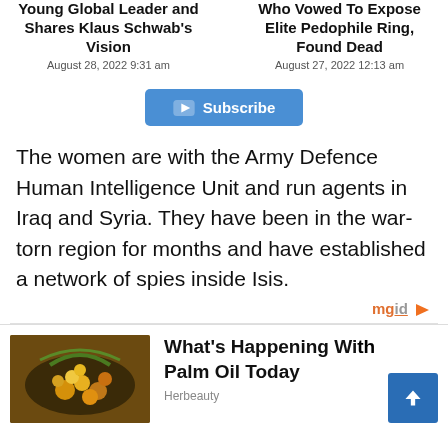Young Global Leader and Shares Klaus Schwab's Vision
August 28, 2022 9:31 am
Who Vowed To Expose Elite Pedophile Ring, Found Dead
August 27, 2022 12:13 am
[Figure (other): YouTube Subscribe button with play icon]
The women are with the Army Defence Human Intelligence Unit and run agents in Iraq and Syria. They have been in the war-torn region for months and have established a network of spies inside Isis.
[Figure (logo): mgid logo with orange arrow]
[Figure (photo): Photo of palm oil fruit in a basket]
What's Happening With Palm Oil Today
Herbeauty